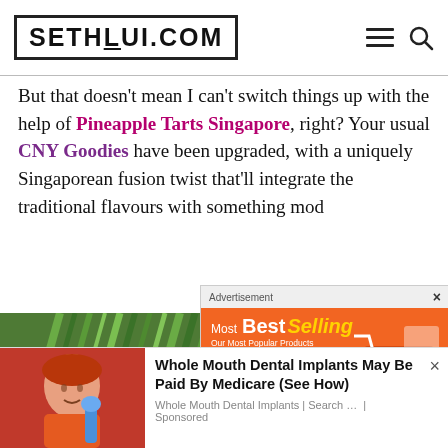SETHLUI.COM
But that doesn't mean I can't switch things up with the help of Pineapple Tarts Singapore, right? Your usual CNY Goodies have been upgraded, with a uniquely Singaporean fusion twist that'll integrate the traditional flavours with something mod…
[Figure (photo): Photo of dark round pineapple tart balls on a wooden tray with green plant background]
[Figure (screenshot): Advertisement overlay showing AliExpress Most Best Selling products banner with orange background and shopping cart graphic]
[Figure (infographic): Native advertisement showing woman smiling with dental mirror, promoting Whole Mouth Dental Implants May Be Paid By Medicare (See How), sponsored by Whole Mouth Dental Implants Search]